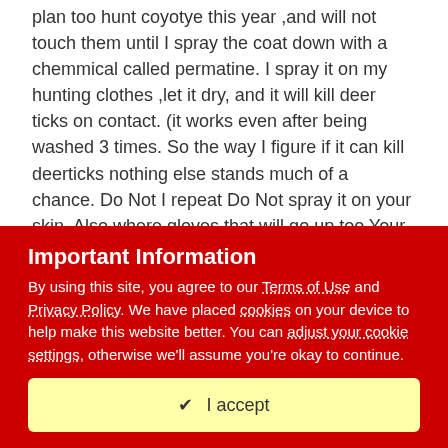plan too hunt coyotye this year ,and will not touch them until I spray the coat down with a chemmical called permatine. I spray it on my hunting clothes ,let it dry, and it will kill deer ticks on contact. (it works even after being washed 3 times. So the way I figure if it can kill deerticks nothing else stands much of a chance. Do Not I repeat Do Not spray it on your skin. Also where gloves that will go up too Your elbows. I might be too careful ,but This is my 20th year of lyme diease and it is no fun. I don't hunt as much as I used too but I still get out there with my cane. Good luck hunting.
Olddeerhunter
Important Information
By using this site, you agree to our Terms of Use and Privacy Policy. We have placed cookies on your device to help make this website better. You can adjust your cookie settings, otherwise we'll assume you're okay to continue.
✔  I accept